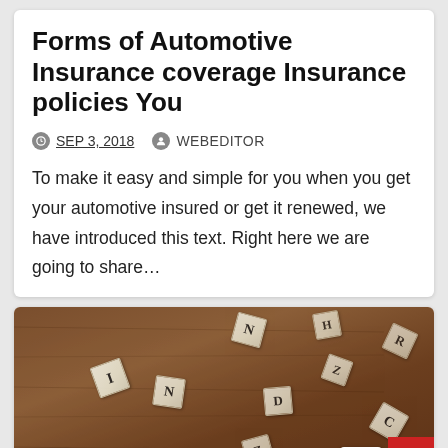Forms of Automotive Insurance coverage Insurance policies You
SEP 3, 2018   WEBEDITOR
To make it easy and simple for you when you get your automotive insured or get it renewed, we have introduced this text. Right here we are going to share…
[Figure (photo): Photo of scattered Scrabble letter tiles on a wooden table, with tiles spelling INSUR visible in the foreground]